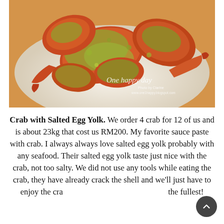[Figure (photo): A plate of crab with salted egg yolk sauce, showing multiple crab pieces with a greenish-yellow sauce coating, served on a white plate. Watermark reads 'One happy day' with photo credit.]
Crab with Salted Egg Yolk. We order 4 crab for 12 of us and is about 23kg that cost us RM200. My favorite sauce paste with crab. I always always love salted egg yolk probably with any seafood. Their salted egg yolk taste just nice with the crab, not too salty. We did not use any tools while eating the crab, they have already crack the shell and we'll just have to enjoy the crab to the fullest!